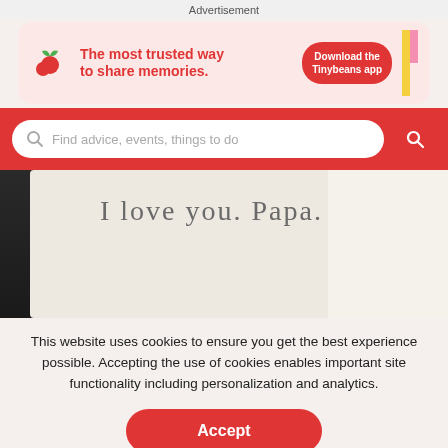Advertisement
[Figure (infographic): Tinybeans advertisement banner: red cherry/sprout logo, text 'The most trusted way to share memories.', button 'Download the Tinybeans app']
[Figure (screenshot): Search bar on red background with placeholder 'Find advice, events, things to do' and red circular search button]
[Figure (photo): Photo of white pillow with handwritten text 'I love you. Papa.' on dark bedding]
This website uses cookies to ensure you get the best experience possible. Accepting the use of cookies enables important site functionality including personalization and analytics.
Accept
Decline